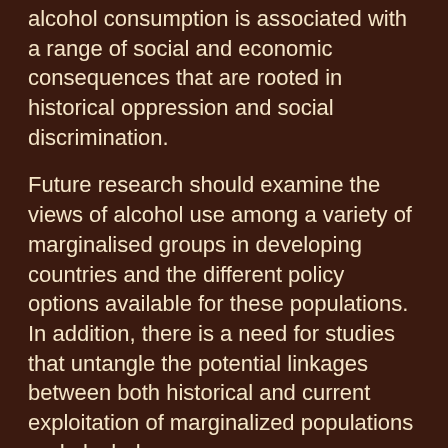alcohol consumption is associated with a range of social and economic consequences that are rooted in historical oppression and social discrimination.
Future research should examine the views of alcohol use among a variety of marginalised groups in developing countries and the different policy options available for these populations. In addition, there is a need for studies that untangle the potential linkages between both historical and current exploitation of marginalized populations and alcohol use.
Read Full Abstract